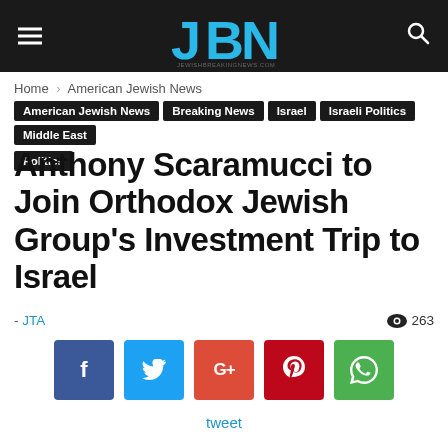JBN – JEWISHBREAKNINGNEWS.COM
Home › American Jewish News
American Jewish News
Breaking News
Israel
Israeli Politics
Middle East
Politics
Anthony Scaramucci to Join Orthodox Jewish Group's Investment Trip to Israel
- JTA   263
[Figure (infographic): Social share buttons: Facebook (f), Twitter (bird), Google+ (G+), Pinterest (P), WhatsApp (phone)]
tweet